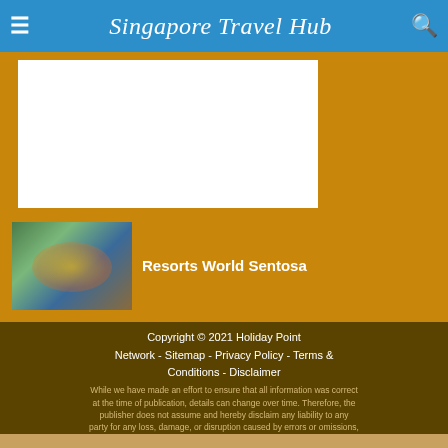Singapore Travel Hub
[Figure (photo): Thumbnail image of Resorts World Sentosa with colorful resort scenery]
Resorts World Sentosa
Copyright © 2021 Holiday Point Network - Sitemap - Privacy Policy - Terms & Conditions - Disclaimer
While we have made an effort to ensure that all information was correct at the time of publication, details can change over time. Therefore, the publisher does not assume and hereby disclaim any liability to any party for any loss, damage, or disruption caused by errors or omissions, whether such errors or omissions result from negligence, accident, or any other cause.